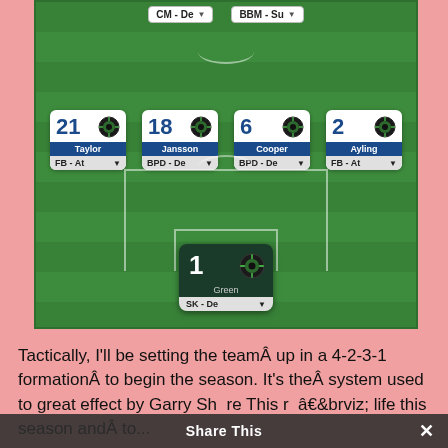[Figure (screenshot): Football Manager tactical formation screen showing a 4-2-3-1 formation. Top has CM-De and BBM-Su role dropdowns. Defender row shows players: Taylor (21, FB-At), Jansson (18, BPD-De), Cooper (6, BPD-De), Ayling (2, FB-At). Goalkeeper: Green (1, SK-De).]
Tactically, I'll be setting the teamÂ up in a 4-2-3-1 formationÂ to begin the season. It's theÂ system used to great effect by GarryÂ real life this season andÂ to...